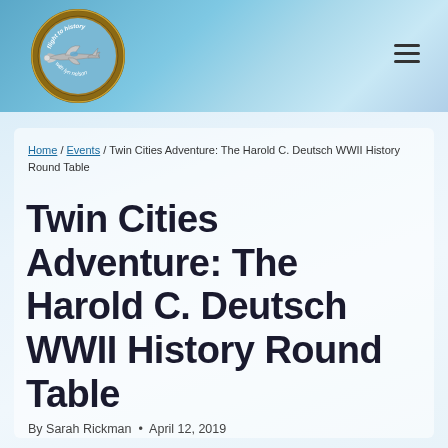[Figure (logo): Circular logo with a WWII airplane and text 'flight to history' with 'with lyn nelson']
Home / Events / Twin Cities Adventure: The Harold C. Deutsch WWII History Round Table
Twin Cities Adventure: The Harold C. Deutsch WWII History Round Table
By Sarah Rickman • April 12, 2019